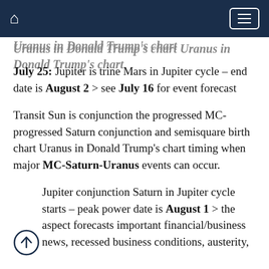Uranus in Donald Trump's chart
July 25: Jupiter is trine Mars in Jupiter cycle – end date is August 2 > see July 16 for event forecast
Transit Sun is conjunction the progressed MC-progressed Saturn conjunction and semisquare birth chart Uranus in Donald Trump's chart timing when major MC-Saturn-Uranus events can occur.
Jupiter conjunction Saturn in Jupiter cycle starts – peak power date is August 1 > the aspect forecasts important financial/business news, recessed business conditions, austerity,